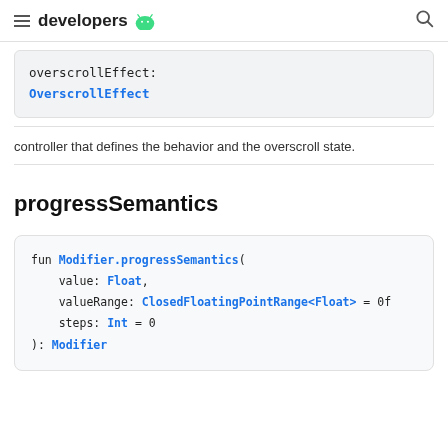developers
overscrollEffect:
OverscrollEffect
controller that defines the behavior and the overscroll state.
progressSemantics
fun Modifier.progressSemantics(
    value: Float,
    valueRange: ClosedFloatingPointRange<Float> = 0f
    steps: Int = 0
): Modifier